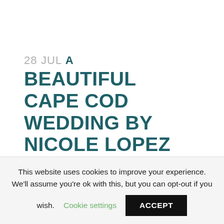28 JUL A BEAUTIFUL CAPE COD WEDDING BY NICOLE LOPEZ PHOTOGRAPHY
Posted at 02:00h in All Destination Weddings by Andrea · 1 Comment
This website uses cookies to improve your experience. We'll assume you're ok with this, but you can opt-out if you wish. Cookie settings ACCEPT